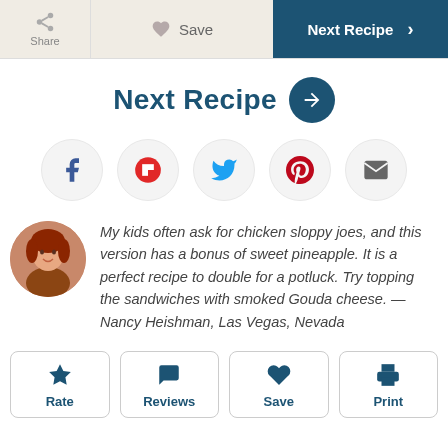Share | Save | Next Recipe >
Next Recipe →
[Figure (screenshot): Social sharing icons row: Facebook, Flipboard, Twitter, Pinterest, Email]
My kids often ask for chicken sloppy joes, and this version has a bonus of sweet pineapple. It is a perfect recipe to double for a potluck. Try topping the sandwiches with smoked Gouda cheese. —Nancy Heishman, Las Vegas, Nevada
[Figure (other): Bottom action buttons: Rate (star icon), Reviews (speech bubble icon), Save (heart icon), Print (printer icon)]